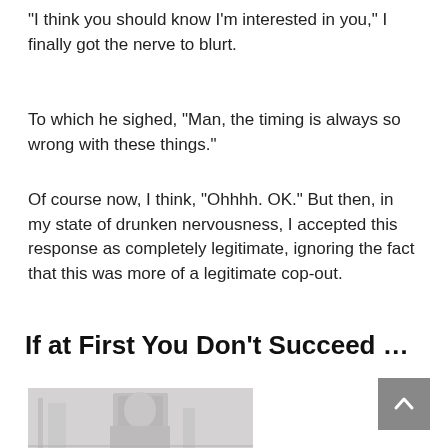“I think you should know I’m interested in you,” I finally got the nerve to blurt.
To which he sighed, “Man, the timing is always so wrong with these things.”
Of course now, I think, “Ohhhh. OK.” But then, in my state of drunken nervousness, I accepted this response as completely legitimate, ignoring the fact that this was more of a legitimate cop-out.
If at First You Don’t Succeed …
[Figure (photo): A black and white photograph of a person, partially visible, rendered in grayscale tones.]